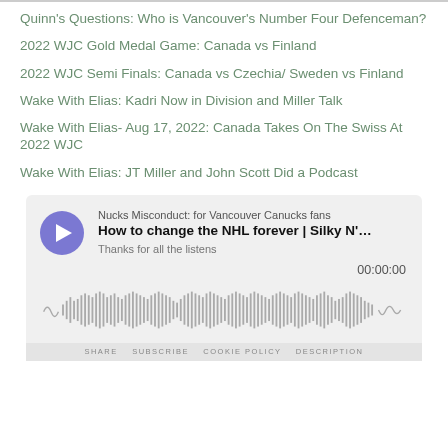Quinn's Questions: Who is Vancouver's Number Four Defenceman?
2022 WJC Gold Medal Game: Canada vs Finland
2022 WJC Semi Finals: Canada vs Czechia/ Sweden vs Finland
Wake With Elias: Kadri Now in Division and Miller Talk
Wake With Elias- Aug 17, 2022: Canada Takes On The Swiss At 2022 WJC
Wake With Elias: JT Miller and John Scott Did a Podcast
[Figure (screenshot): Podcast player widget for 'Nucks Misconduct: for Vancouver Canucks fans' showing episode 'How to change the NHL forever | Silky N'...' with description 'Thanks for all the listens', timestamp 00:00:00, waveform audio visualization, and bottom bar with navigation options SHARE, SUBSCRIBE, COOKIE POLICY, DESCRIPTION]